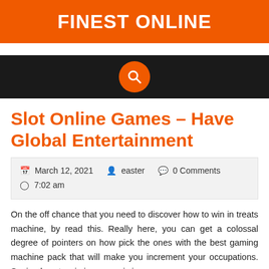FINEST ONLINE
[Figure (other): Dark navigation bar with orange circular search button icon in the center]
Slot Online Games – Have Global Entertainment
March 12, 2021   easter   0 Comments   7:02 am
On the off chance that you need to discover how to win in treats machine, by read this. Really here, you can get a colossal degree of pointers on how pick the ones with the best gaming machine pack that will make you increment your occupations. Seeing how to win in spaces is in